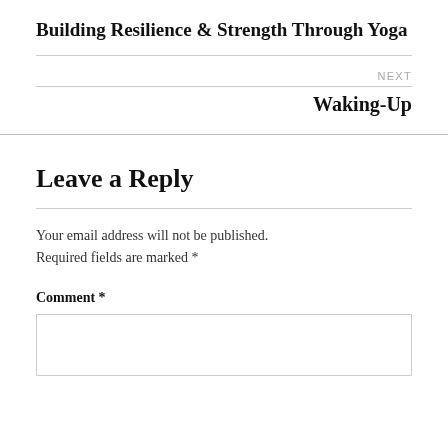Building Resilience & Strength Through Yoga
NEXT
Waking-Up
Leave a Reply
Your email address will not be published. Required fields are marked *
Comment *